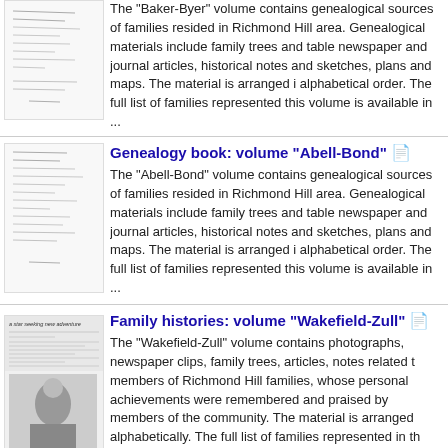[Figure (photo): Thumbnail image of a handwritten document page (Baker-Byer genealogy volume)]
The "Baker-Byer" volume contains genealogical sources of families resided in Richmond Hill area. Genealogical materials include family trees and tables, newspaper and journal articles, historical notes and sketches, plans and maps. The material is arranged in alphabetical order. The full list of families represented in this volume is available in ...
[Figure (photo): Thumbnail image of a handwritten document page (Abell-Bond genealogy volume)]
Genealogy book: volume "Abell-Bond"
The "Abell-Bond" volume contains genealogical sources of families resided in Richmond Hill area. Genealogical materials include family trees and tables, newspaper and journal articles, historical notes and sketches, plans and maps. The material is arranged in alphabetical order. The full list of families represented in this volume is available in ...
[Figure (photo): Thumbnail image showing a newspaper clipping with text 'a star seeking new adventure' and a photograph of a person (Wakefield-Zull family histories volume)]
Family histories: volume "Wakefield-Zull"
The "Wakefield-Zull" volume contains photographs, newspaper clips, family trees, articles, notes related to members of Richmond Hill families, whose personal achievements were remembered and praised by members of the community. The material is arranged alphabetically. The full list of families represented in this volume is available in Personal Name(s) section.